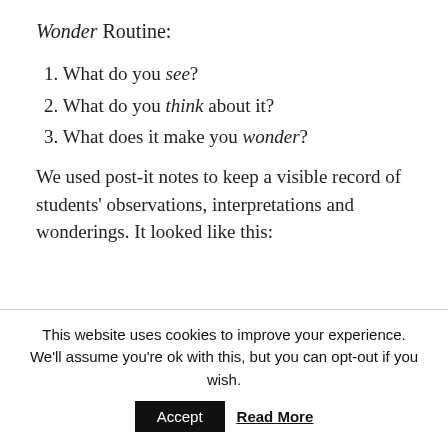Wonder Routine:
1. What do you see?
2. What do you think about it?
3. What does it make you wonder?
We used post-it notes to keep a visible record of students' observations, interpretations and wonderings. It looked like this:
[Figure (photo): Broken image placeholders representing post-it note arrangement photos]
This website uses cookies to improve your experience. We'll assume you're ok with this, but you can opt-out if you wish. Accept Read More